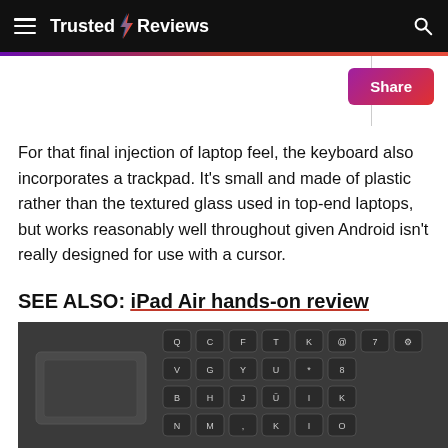Trusted Reviews
For that final injection of laptop feel, the keyboard also incorporates a trackpad. It's small and made of plastic rather than the textured glass used in top-end laptops, but works reasonably well throughout given Android isn't really designed for use with a cursor.
SEE ALSO: iPad Air hands-on review
[Figure (photo): Close-up photograph of a dark grey keyboard with trackpad visible in the lower left, showing QWERTY-style keys with white lettering on black keycaps.]